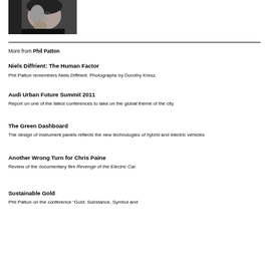[Figure (photo): Black and white portrait photo of a person with hand near face, looking thoughtful]
More from Phil Patton
Niels Diffrient: The Human Factor
Phil Patton remembers Niels Diffrient. Photographs by Dorothy Kresz.
Audi Urban Future Summit 2011
Report on one of the latest conferences to take on the global theme of the city
The Green Dashboard
The design of instrument panels reflects the new technologies of hybrid and electric vehicles
Another Wrong Turn for Chris Paine
Review of the documentary film Revenge of the Electric Car.
Sustainable Gold
Phil Patton on the conference "Gold: Substance, Symbol and